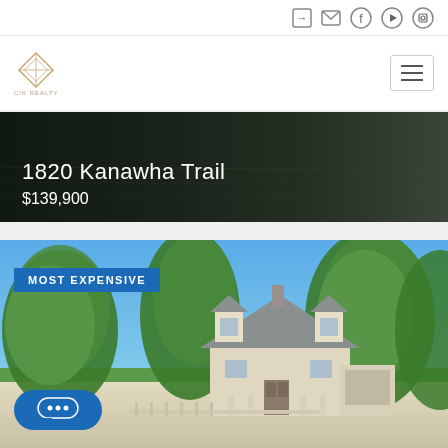Real estate website header with navigation icons (sign-in, mail, Facebook, YouTube, Instagram) and logo
[Figure (photo): Dark aerial/water background photo showing 1820 Kanawha Trail property listing header with price overlay]
1820 Kanawha Trail
$139,900
[Figure (photo): Exterior photo of a house with MOST EXPENSIVE badge, showing a colonial-style home surrounded by large green trees with blue sky background]
MOST EXPENSIVE